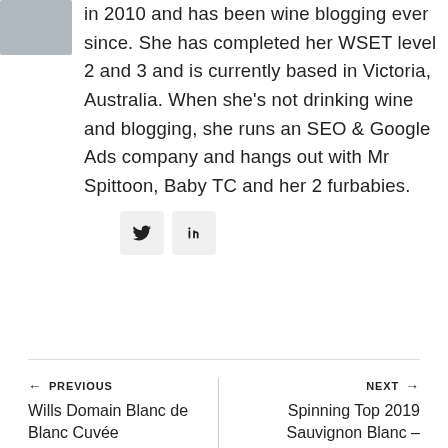[Figure (photo): Author avatar/profile photo, partially visible at top left]
in 2010 and has been wine blogging ever since. She has completed her WSET level 2 and 3 and is currently based in Victoria, Australia. When she's not drinking wine and blogging, she runs an SEO & Google Ads company and hangs out with Mr Spittoon, Baby TC and her 2 furbabies.
[Figure (other): Social media icons: Twitter and LinkedIn buttons]
← PREVIOUS
Wills Domain Blanc de Blanc Cuvée
NEXT →
Spinning Top 2019 Sauvignon Blanc –